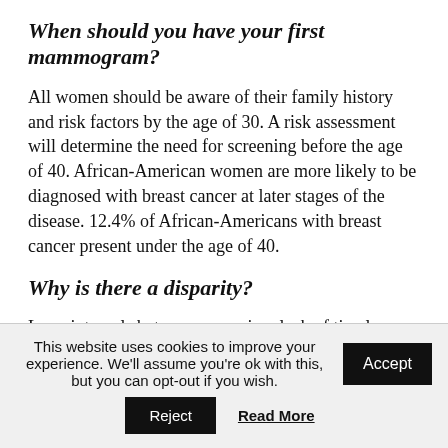When should you have your first mammogram?
All women should be aware of their family history and risk factors by the age of 30. A risk assessment will determine the need for screening before the age of 40. African-American women are more likely to be diagnosed with breast cancer at later stages of the disease. 12.4% of African-Americans with breast cancer present under the age of 40.
Why is there a disparity?
Long intervals between screening, lack of timely follow-up of suspicious results, and delays in
This website uses cookies to improve your experience. We'll assume you're ok with this, but you can opt-out if you wish.
Accept
Reject
Read More